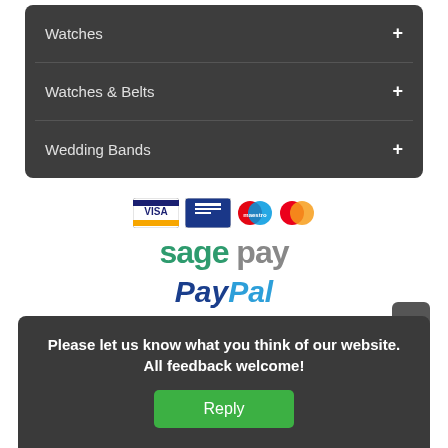Watches +
Watches & Belts +
Wedding Bands +
[Figure (logo): Payment logos: Visa, Maestro, MasterCard, Sage Pay, PayPal]
Please let us know what you think of our website. All feedback welcome!
Reply